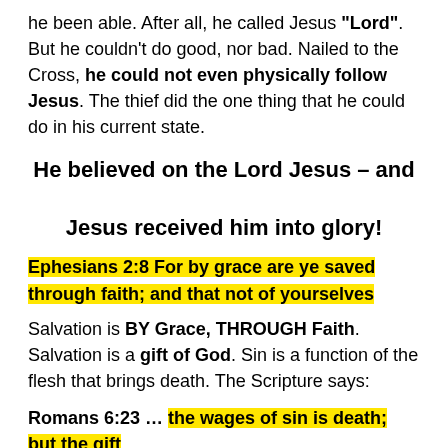he been able. After all, he called Jesus "Lord". But he couldn't do good, nor bad. Nailed to the Cross, he could not even physically follow Jesus. The thief did the one thing that he could do in his current state.
He believed on the Lord Jesus – and Jesus received him into glory!
Ephesians 2:8 For by grace are ye saved through faith; and that not of yourselves
Salvation is BY Grace, THROUGH Faith. Salvation is a gift of God. Sin is a function of the flesh that brings death. The Scripture says:
Romans 6:23 … the wages of sin is death; but the gift